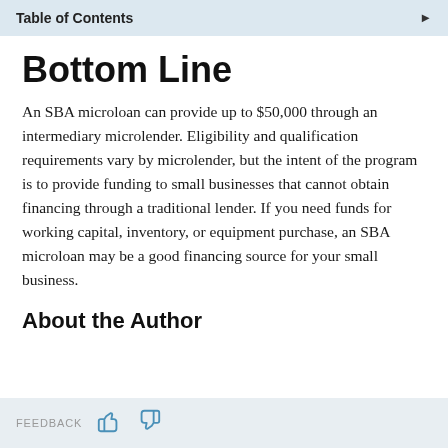Table of Contents
Bottom Line
An SBA microloan can provide up to $50,000 through an intermediary microlender. Eligibility and qualification requirements vary by microlender, but the intent of the program is to provide funding to small businesses that cannot obtain financing through a traditional lender. If you need funds for working capital, inventory, or equipment purchase, an SBA microloan may be a good financing source for your small business.
About the Author
FEEDBACK